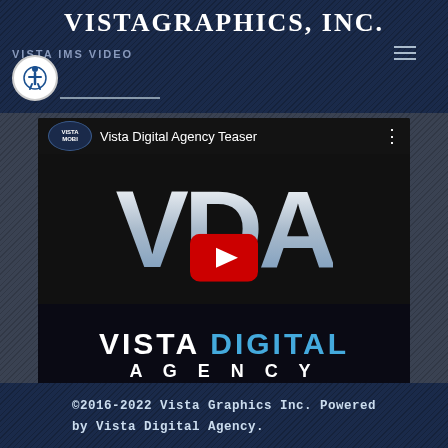VistaGraphics, Inc.
VISTA IMS VIDEO
[Figure (screenshot): YouTube video thumbnail for 'Vista Digital Agency Teaser' showing large VDA letters and VISTA DIGITAL AGENCY branding with a YouTube play button overlay. Vista Mobi badge in top left corner.]
©2016-2022 Vista Graphics Inc. Powered by Vista Digital Agency.